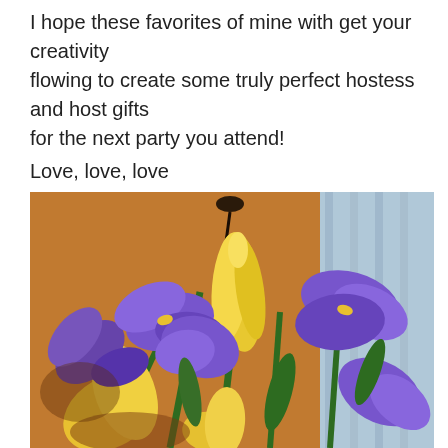I hope these favorites of mine with get your creativity flowing to create some truly perfect hostess and host gifts for the next party you attend!
Love, love, love
Marcella Rose
[Figure (photo): Close-up photograph of a bouquet of yellow tulips and purple irises arranged together, with a warm golden/orange background and light blue curtain visible behind.]